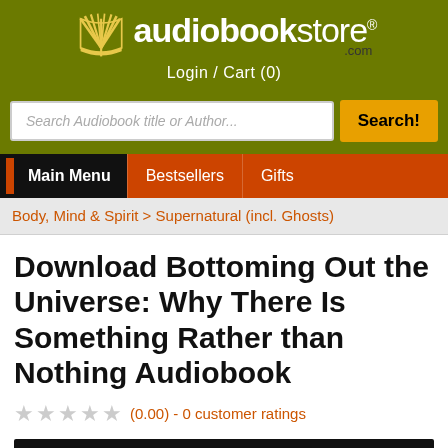[Figure (logo): AudioBookStore.com logo with open book icon and text 'audiobookstore .com', Login / Cart (0) below]
Search Audiobook title or Author...
Main Menu  Bestsellers  Gifts
Body, Mind & Spirit > Supernatural (incl. Ghosts)
Download Bottoming Out the Universe: Why There Is Something Rather than Nothing Audiobook
★★★★★ (0.00) - 0 customer ratings
[Figure (screenshot): Black banner with blue italic text 'Bottoming Out' partially visible]